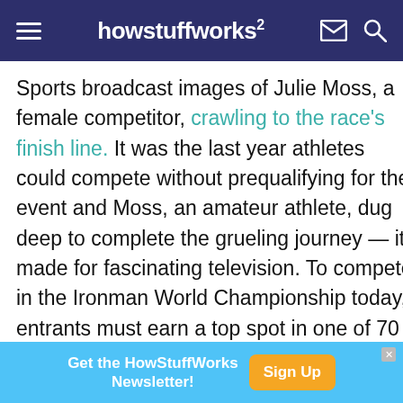howstuffworks
Sports broadcast images of Julie Moss, a female competitor, crawling to the race's finish line. It was the last year athletes could compete without prequalifying for the event and Moss, an amateur athlete, dug deep to complete the grueling journey — it made for fascinating television. To compete in the Ironman World Championship today, entrants must earn a top spot in one of 70 qualifying races across the country leading up to the annual event [source: Ironman]. The same is true for other elite races, including those sanctioned by the Olympic sports
[Figure (screenshot): Advertisement banner: 'Get the HowStuffWorks Newsletter!' with a 'Sign Up' button in orange]